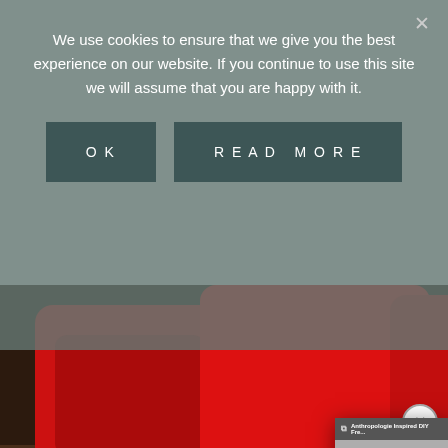We use cookies to ensure that we give you the best experience on our website. If you continue to use this site we will assume that you are happy with it.
OK
READ MORE
[Figure (photo): Red plastic storage bins/containers on a wooden surface]
How to O... Ornament...
[Figure (screenshot): Video popup overlay showing 'Anthropologie Inspired DIY Fre...' with a play button and 0:00 timestamp]